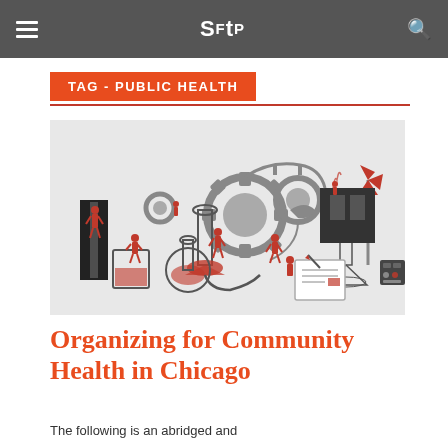SFtP — navigation bar with hamburger menu and search icon
TAG - PUBLIC HEALTH
[Figure (illustration): Illustrated scene of small orange figures (workers/scientists) working with large scientific equipment including flasks, beakers, gears, wind turbines, and laboratory apparatus on a grey background]
Organizing for Community Health in Chicago
The following is an abridged and